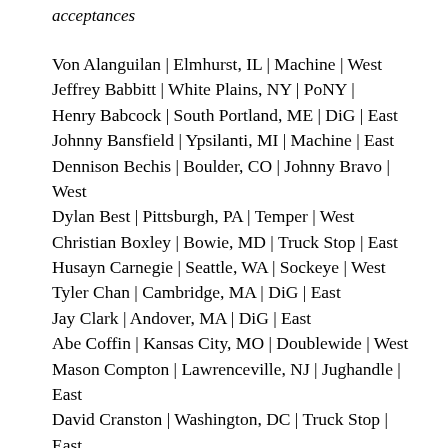acceptances
Von Alanguilan | Elmhurst, IL | Machine | West
Jeffrey Babbitt | White Plains, NY | PoNY | West
Henry Babcock | South Portland, ME | DiG | East
Johnny Bansfield | Ypsilanti, MI | Machine | East
Dennison Bechis | Boulder, CO | Johnny Bravo | West
Dylan Best | Pittsburgh, PA | Temper | West
Christian Boxley | Bowie, MD | Truck Stop | East
Husayn Carnegie | Seattle, WA | Sockeye | West
Tyler Chan | Cambridge, MA | DiG | East
Jay Clark | Andover, MA | DiG | East
Abe Coffin | Kansas City, MO | Doublewide | West
Mason Compton | Lawrenceville, NJ | Jughandle | East
David Cranston | Washington, DC | Truck Stop | East
Chase Cunningham | Austin, TX | Doublewide |